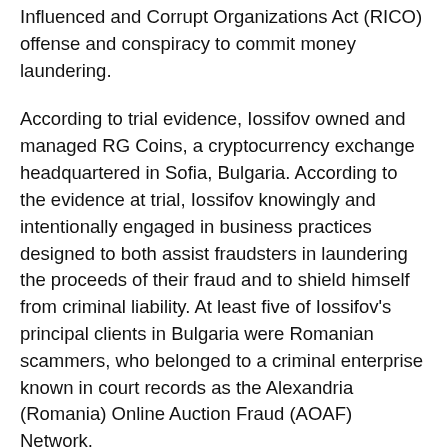Influenced and Corrupt Organizations Act (RICO) offense and conspiracy to commit money laundering.
According to trial evidence, Iossifov owned and managed RG Coins, a cryptocurrency exchange headquartered in Sofia, Bulgaria. According to the evidence at trial, Iossifov knowingly and intentionally engaged in business practices designed to both assist fraudsters in laundering the proceeds of their fraud and to shield himself from criminal liability. At least five of Iossifov's principal clients in Bulgaria were Romanian scammers, who belonged to a criminal enterprise known in court records as the Alexandria (Romania) Online Auction Fraud (AOAF) Network.